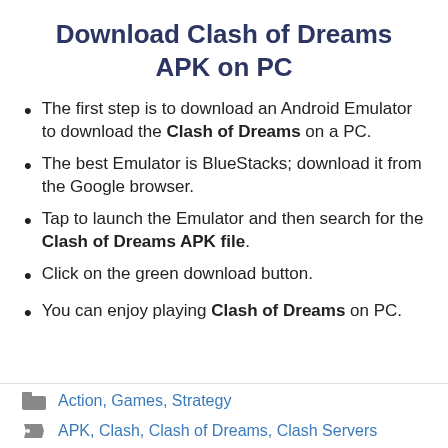Download Clash of Dreams APK on PC
The first step is to download an Android Emulator to download the Clash of Dreams on a PC.
The best Emulator is BlueStacks; download it from the Google browser.
Tap to launch the Emulator and then search for the Clash of Dreams APK file.
Click on the green download button.
You can enjoy playing Clash of Dreams on PC.
Action, Games, Strategy
APK, Clash, Clash of Dreams, Clash Servers